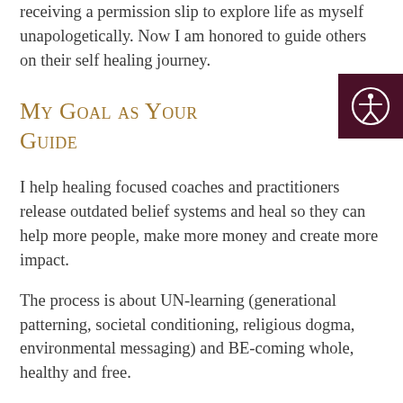receiving a permission slip to explore life as myself unapologetically. Now I am honored to guide others on their self healing journey.
[Figure (illustration): Accessibility icon — white person with arms outstretched inside a circle, on a dark maroon/burgundy background square]
My Goal as Your Guide
I help healing focused coaches and practitioners release outdated belief systems and heal so they can help more people, make more money and create more impact.
The process is about UN-learning (generational patterning, societal conditioning, religious dogma, environmental messaging) and BE-coming whole, healthy and free.